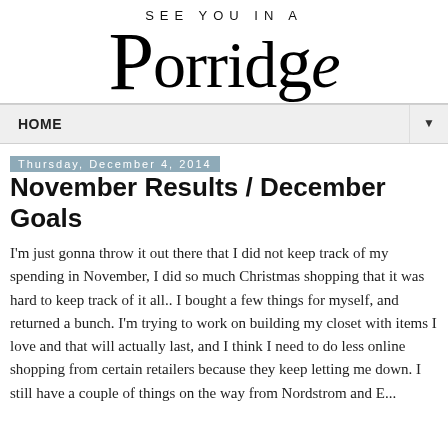[Figure (logo): Blog logo: 'SEE YOU IN A' in small spaced caps above large stylized 'Porridge' text in serif font]
HOME ▼
Thursday, December 4, 2014
November Results / December Goals
I'm just gonna throw it out there that I did not keep track of my spending in November, I did so much Christmas shopping that it was hard to keep track of it all.. I bought a few things for myself, and returned a bunch. I'm trying to work on building my closet with items I love and that will actually last, and I think I need to do less online shopping from certain retailers because they keep letting me down. I still have a couple of things on the way from Nordstrom and E....